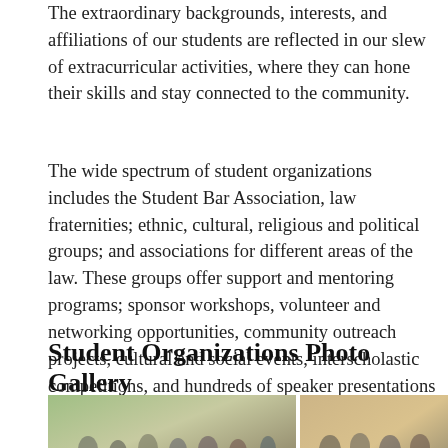The extraordinary backgrounds, interests, and affiliations of our students are reflected in our slew of extracurricular activities, where they can hone their skills and stay connected to the community.
The wide spectrum of student organizations includes the Student Bar Association, law fraternities; ethnic, cultural, religious and political groups; and associations for different areas of the law. These groups offer support and mentoring programs; sponsor workshops, volunteer and networking opportunities, community outreach projects, cultural and social events, interscholastic competitions, and hundreds of speaker presentations each academic year.
Student Organizations Photo Gallery
[Figure (photo): Group photo of students at an outdoor event, standing behind a table with a sign reading ALSA]
[Figure (photo): Group of students holding drinks at what appears to be a social gathering indoors]
[Figure (photo): Group of students sitting at a table with laptops and supplies at an event]
[Figure (photo): Student standing outdoors holding a large white arrow sign]